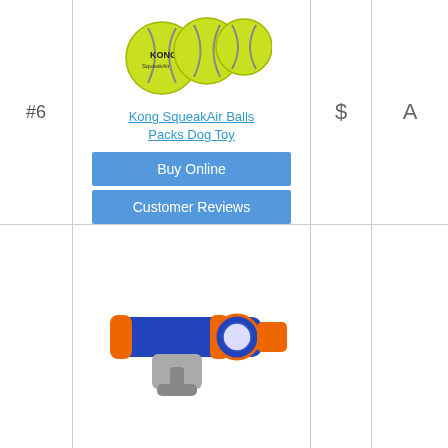#6
[Figure (photo): KONG SqueakAir tennis balls dog toy product photo]
Kong SqueakAir Balls Packs Dog Toy
Buy Online
Customer Reviews
$
A
[Figure (photo): Nerf dog tennis ball launcher toy product photo - blue and orange gun launcher]